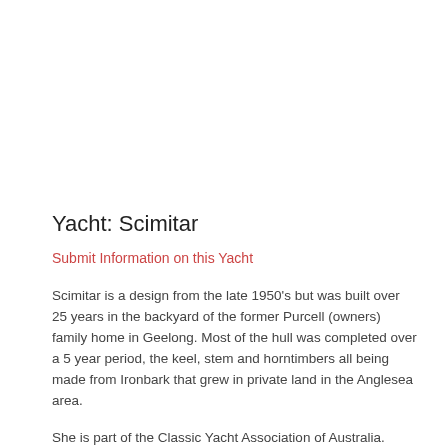Yacht: Scimitar
Submit Information on this Yacht
Scimitar is a design from the late 1950's but was built over 25 years in the backyard of the former Purcell (owners) family home in Geelong. Most of the hull was completed over a 5 year period, the keel, stem and horntimbers all being made from Ironbark that grew in private land in the Anglesea area.
She is part of the Classic Yacht Association of Australia.